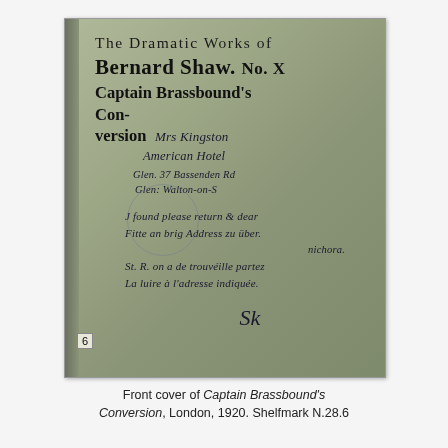[Figure (photo): Photograph of the front cover of a book: 'The Dramatic Works of Bernard Shaw. No. X Captain Brassbound's Conversion', with handwritten inscriptions and signatures on the cover, and a circular stamp. Page number 6 visible in bottom left corner.]
Front cover of Captain Brassbound's Conversion, London, 1920. Shelfmark N.28.6